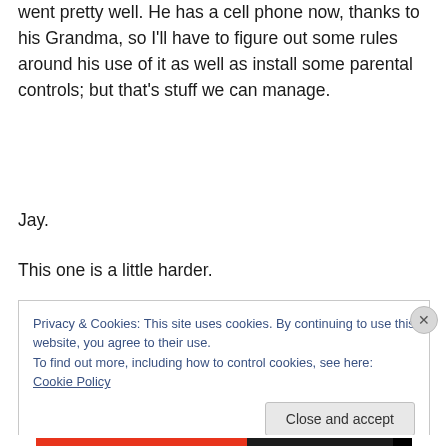went pretty well. He has a cell phone now, thanks to his Grandma, so I'll have to figure out some rules around his use of it as well as install some parental controls; but that's stuff we can manage.
Jay.
This one is a little harder.
Privacy & Cookies: This site uses cookies. By continuing to use this website, you agree to their use.
To find out more, including how to control cookies, see here: Cookie Policy
[Close and accept]